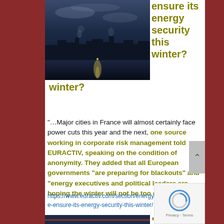[Figure (photo): Industrial facility with smokestack reflected in water at dusk/night]
ensure its energy security this winter?
“…Major cities in France will almost certainly face power cuts this year and the next, one source working in corporate risk management told EURACTIV, speaking on the condition of anonymity. They added that all European governments “are preparing for blackouts” and “energy executives and political leaders are hoping the winter will not be too cold.””
https://www.euractiv.com/section/energy/news/can-france-ensure-its-energy-security-this-winter/
[Figure (photo): Partial view of another photo at bottom of page]